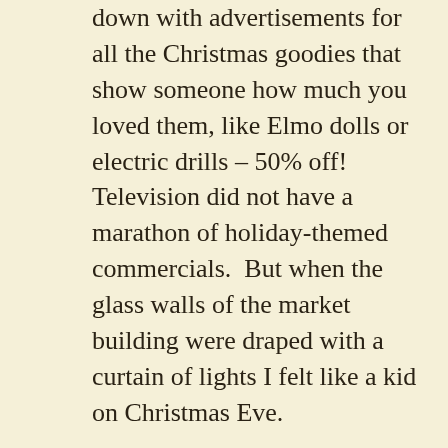down with advertisements for all the Christmas goodies that show someone how much you loved them, like Elmo dolls or electric drills – 50% off!  Television did not have a marathon of holiday-themed commercials.  But when the glass walls of the market building were draped with a curtain of lights I felt like a kid on Christmas Eve.
We asked Brad's Dijon colleague when all of this Christmas cheer would come to life and he said he wasn't sure.  It would be sometime the weekend we were leaving because that would be the beginning of Advent, the liturgical start to the Christmas season.  With my weak French I thought I read in the local paper that something would be happening on Friday, the night before we left.
Not knowing what or where anything would happen, I dragged Brad out into the cold French night to the plaza with the carousel.  It seemed as likely a place as any for a